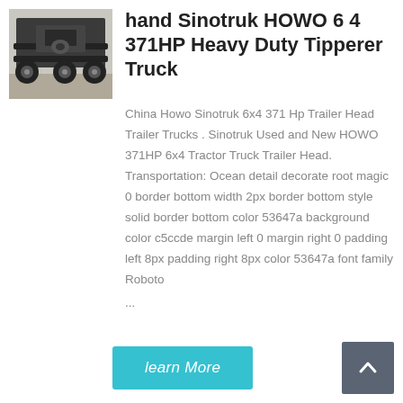[Figure (photo): Undercarriage/bottom view of a heavy duty truck, showing axles and drivetrain components, gray/black tones]
hand Sinotruk HOWO 6 4 371HP Heavy Duty Tipperer Truck
China Howo Sinotruk 6x4 371 Hp Trailer Head Trailer Trucks . Sinotruk Used and New HOWO 371HP 6x4 Tractor Truck Trailer Head. Transportation: Ocean detail decorate root magic 0 border bottom width 2px border bottom style solid border bottom color 53647a background color c5ccde margin left 0 margin right 0 padding left 8px padding right 8px color 53647a font family Roboto ...